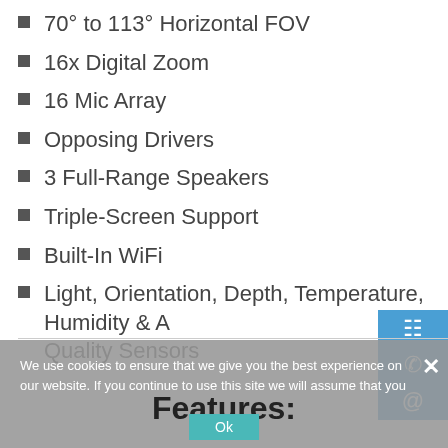70° to 113° Horizontal FOV
16x Digital Zoom
16 Mic Array
Opposing Drivers
3 Full-Range Speakers
Triple-Screen Support
Built-In WiFi
Light, Orientation, Depth, Temperature, Humidity & Air Quality Sensors
We use cookies to ensure that we give you the best experience on our website. If you continue to use this site we will assume that you are
Features:
Ok